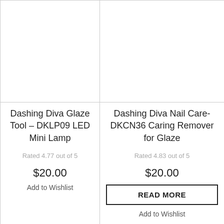[Figure (photo): Empty product image area for Dashing Diva Glaze Tool – DKLP09 LED Mini Lamp (top-left cell)]
[Figure (photo): Empty product image area for Dashing Diva Nail Care-DKCN36 Caring Remover for Glaze (top-right cell)]
Dashing Diva Glaze Tool – DKLP09 LED Mini Lamp
Rated 4.77 out of 5
$20.00
Add to Wishlist
Dashing Diva Nail Care-DKCN36 Caring Remover for Glaze
Rated 4.83 out of 5
$20.00
READ MORE
Add to Wishlist